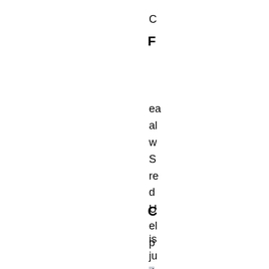C
F
ea
al
w
S
re
d
U
el
p
C
is
ju
ti
u
d